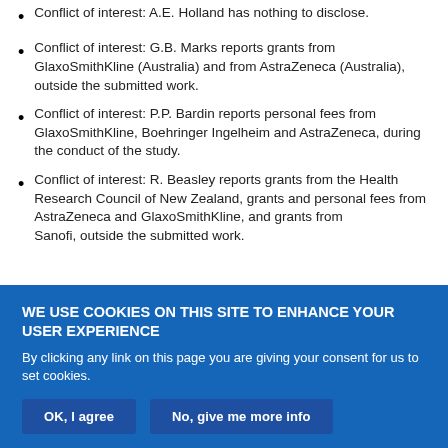Conflict of interest: A.E. Holland has nothing to disclose.
Conflict of interest: G.B. Marks reports grants from GlaxoSmithKline (Australia) and from AstraZeneca (Australia), outside the submitted work.
Conflict of interest: P.P. Bardin reports personal fees from GlaxoSmithKline, Boehringer Ingelheim and AstraZeneca, during the conduct of the study.
Conflict of interest: R. Beasley reports grants from the Health Research Council of New Zealand, grants and personal fees from AstraZeneca and GlaxoSmithKline, and grants from Sanofi, outside the submitted work.
WE USE COOKIES ON THIS SITE TO ENHANCE YOUR USER EXPERIENCE
By clicking any link on this page you are giving your consent for us to set cookies.